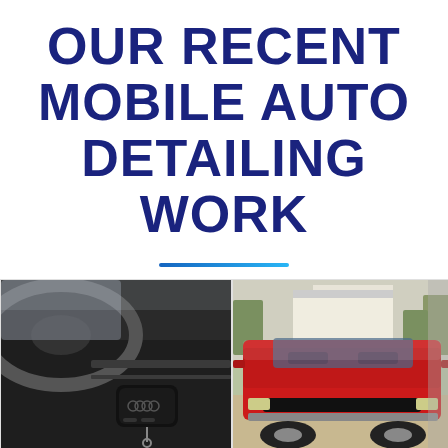OUR RECENT MOBILE AUTO DETAILING WORK
[Figure (photo): Close-up of a car dashboard interior with a black Audi key fob resting on a surface, steering wheel visible in background]
[Figure (photo): Front-on view of a classic red muscle car (vintage Camaro or similar) parked outdoors near a white building]
[Figure (photo): Partial view of a red car outdoors with trees in background]
[Figure (photo): Close-up photo of car detailing work, partially visible]